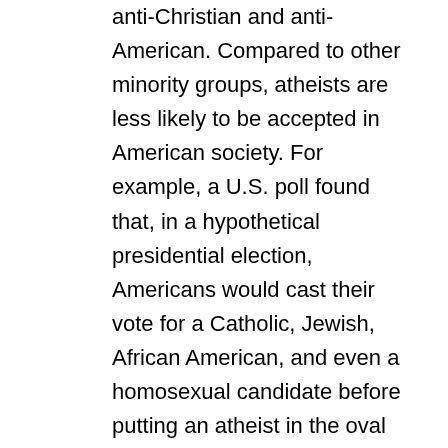anti-Christian and anti-American. Compared to other minority groups, atheists are less likely to be accepted in American society. For example, a U.S. poll found that, in a hypothetical presidential election, Americans would cast their vote for a Catholic, Jewish, African American, and even a homosexual candidate before putting an atheist in the oval office.4 The same study showed that Americans ranked atheists at the top of those minorities (which included Muslims, homosexuals and recent immigrants) who do not agree at all with their vision of American society (see also a more recent survey).
Whether we like it or not, publicly identifying as an atheist in the United States often leads to stigmatization by family and friends. Such